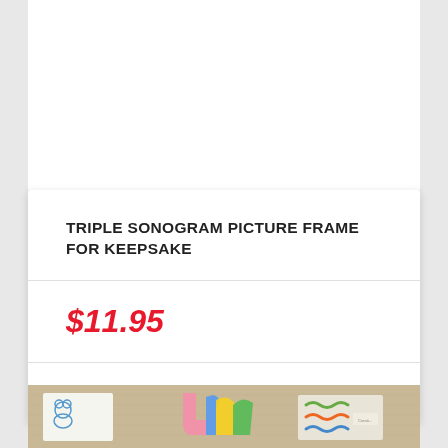TRIPLE SONOGRAM PICTURE FRAME FOR KEEPSAKE
$11.95
CHECK IT OUT!
[Figure (photo): A photo showing baby-themed fabric items with colorful decorative elements including a teddy bear, pink and blue cutouts, and colorful shapes on a beige/tan background]